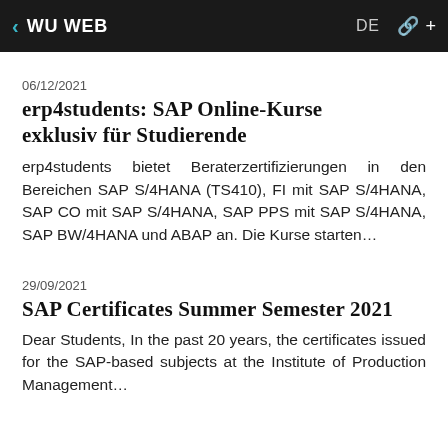WU WEB  DE
06/12/2021
erp4students: SAP Online-Kurse exklusiv für Studierende
erp4students bietet Beraterzertifizierungen in den Bereichen SAP S/4HANA (TS410), FI mit SAP S/4HANA, SAP CO mit SAP S/4HANA, SAP PPS mit SAP S/4HANA, SAP BW/4HANA und ABAP an. Die Kurse starten…
29/09/2021
SAP Certificates Summer Semester 2021
Dear Students, In the past 20 years, the certificates issued for the SAP-based subjects at the Institute of Production Management…